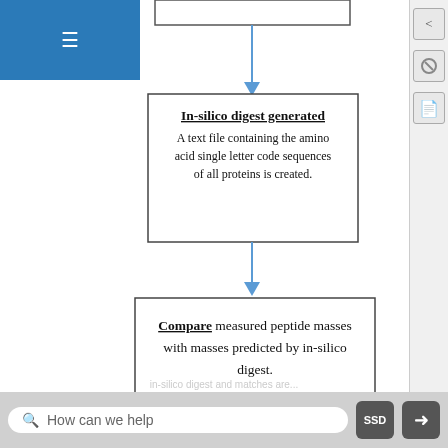[Figure (flowchart): A flowchart showing steps in a proteomics workflow. Partially visible top box connects via downward blue arrow to a box labeled 'In-silico digest generated' with text 'A text file containing the amino acid single letter code sequences of all proteins is created.' Then another downward blue arrow leads to a box with 'Compare measured peptide masses with masses predicted by in-silico digest.' A vertical line continues below.]